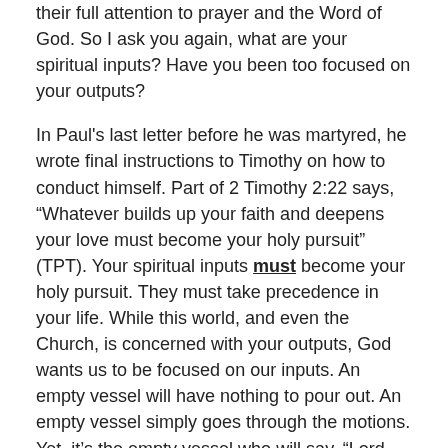their full attention to prayer and the Word of God. So I ask you again, what are your spiritual inputs? Have you been too focused on your outputs?
In Paul's last letter before he was martyred, he wrote final instructions to Timothy on how to conduct himself. Part of 2 Timothy 2:22 says, “Whatever builds up your faith and deepens your love must become your holy pursuit” (TPT). Your spiritual inputs must become your holy pursuit. They must take precedence in your life. While this world, and even the Church, is concerned with your outputs, God wants us to be focused on our inputs. An empty vessel will have nothing to pour out. An empty vessel simply goes through the motions. Yet, it’s the empty vessel who will say, “Lord, didn’t I do all these things (outputs) in your name?” And Jesus will reply, “Depart from me. I never knew you (you never took the time to know me (inputs)).”